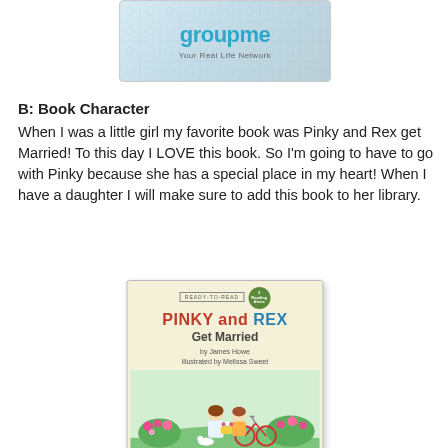[Figure (logo): GroupMe logo with tagline 'Your Real Life Network' on a blue-grey patterned background]
B: Book Character
When I was a little girl my favorite book was Pinky and Rex get Married! To this day I LOVE this book. So I'm going to have to go with Pinky because she has a special place in my heart! When I have a daughter I will make sure to add this book to her library.
[Figure (illustration): Book cover of 'Pinky and Rex Get Married' by James Howe, illustrated by Melissa Sweet. Shows two children with a bicycle among flowers on a green lawn. Ready-to-Read level badge in corner.]